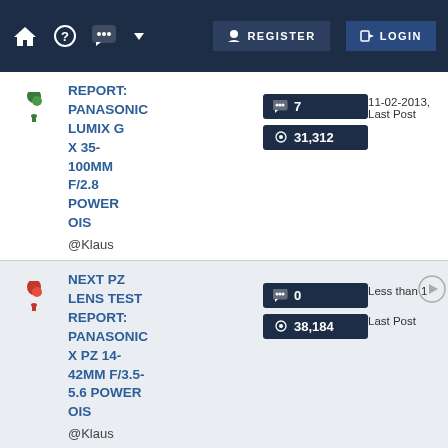REGISTER  LOGIN
REPORT: PANASONIC LUMIX G X 35-100MM F/2.8 POWER OIS
@Klaus
7 comments, 31,312 views
11-02-2013, Last Post
NEXT PZ LENS TEST REPORT: PANASONIC X PZ 14-42MM F/3.5-5.6 POWER OIS
@Klaus
0 comments, 38,184 views
Less than 1, Last Post
NEXT PZ LENS TEST